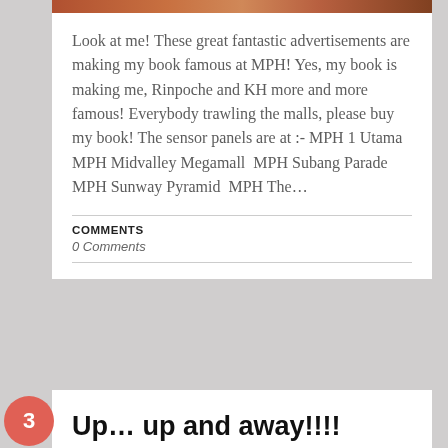[Figure (photo): A cropped photo strip visible at top of the page]
Look at me! These great fantastic advertisements are making my book famous at MPH! Yes, my book is making me, Rinpoche and KH more and more famous! Everybody trawling the malls, please buy my book! The sensor panels are at :- MPH 1 Utama  MPH Midvalley Megamall  MPH Subang Parade  MPH Sunway Pyramid  MPH The…
COMMENTS
0 Comments
Up… up and away!!!!